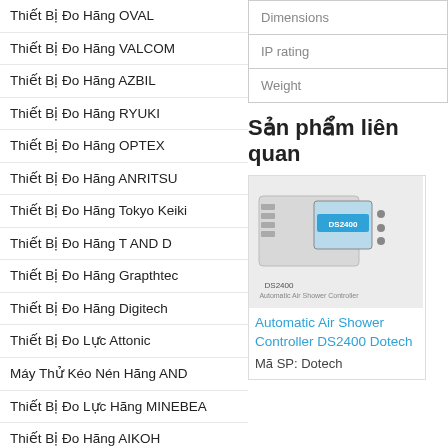Thiết Bị Đo Hãng OVAL
Thiết Bị Đo Hãng VALCOM
Thiết Bị Đo Hãng AZBIL
Thiết Bị Đo Hãng RYUKI
Thiết Bị Đo Hãng OPTEX
Thiết Bị Đo Hãng ANRITSU
Thiết Bị Đo Hãng Tokyo Keiki
Thiết Bị Đo Hãng T AND D
Thiết Bị Đo Hãng Grapthtec
Thiết Bị Đo Hãng Digitech
Thiết Bị Đo Lực Attonic
Máy Thử Kéo Nén Hãng AND
Thiết Bị Đo Lực Hãng MINEBEA
Thiết Bị Đo Hãng AIKOH
Thiết Bị Đo Hãng Kosaka Lab
| Property | Value |
| --- | --- |
| Dimensions |  |
| IP rating |  |
| Weight |  |
Sản phẩm liên quan
[Figure (photo): Photo of DS2400 Automatic Air Shower Controller device]
Automatic Air Shower Controller DS2400 Dotech
Mã SP: Dotech
Fan F... Dotec...
Mã SP...